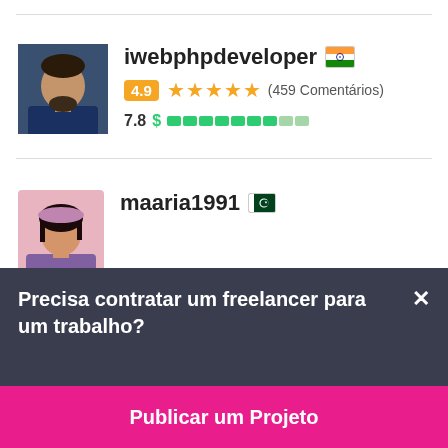[Figure (screenshot): User profile card for iwebphpdeveloper with India flag, 4.9 rating badge, 5 stars, 459 Comentários, and a price bar showing 7.8 with green dollar sign and colored segments]
iwebphpdeveloper 🇮🇳
4.9 ★★★★★ (459 Comentários)
7.8 $ ████████░░
[Figure (screenshot): User profile card for maaria1991 with Pakistan flag, partially visible]
maaria1991 🇵🇰
Precisa contratar um freelancer para um trabalho?
Publicar um Projeto